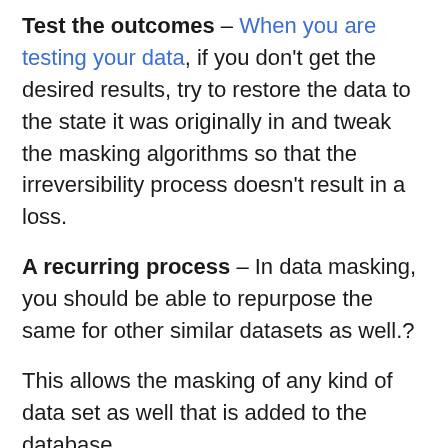Test the outcomes – When you are testing your data, if you don't get the desired results, try to restore the data to the state it was originally in and tweak the masking algorithms so that the irreversibility process doesn't result in a loss.
A recurring process – In data masking, you should be able to repurpose the same for other similar datasets as well.?
This allows the masking of any kind of data set as well that is added to the database.
Maintain referential integrity – Whatever sources